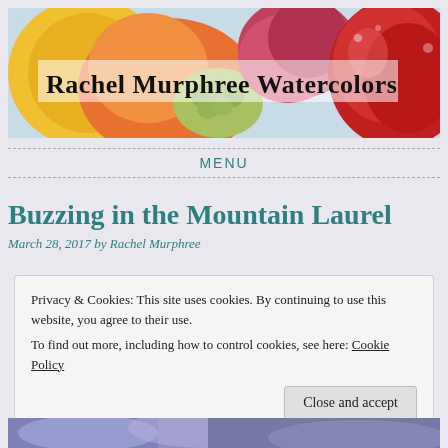[Figure (photo): Colorful watercolor painting banner showing fruits (lemon, apples, grapes) with text overlay 'Rachel Murphree Watercolors' in bold dark serif font]
MENU
Buzzing in the Mountain Laurel
March 28, 2017 by Rachel Murphree
Privacy & Cookies: This site uses cookies. By continuing to use this website, you agree to their use.
To find out more, including how to control cookies, see here: Cookie Policy
Close and accept
[Figure (photo): Bottom strip showing a colorful watercolor painting with blue and purple hues]